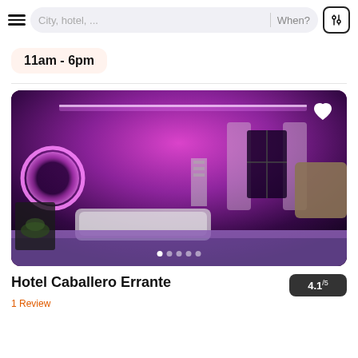City, hotel, ...   When?
11am - 6pm
[Figure (photo): Hotel room interior with purple/pink LED ambient lighting, bathtub, curtains, and bed]
Hotel Caballero Errante
4.1/5
1 Review